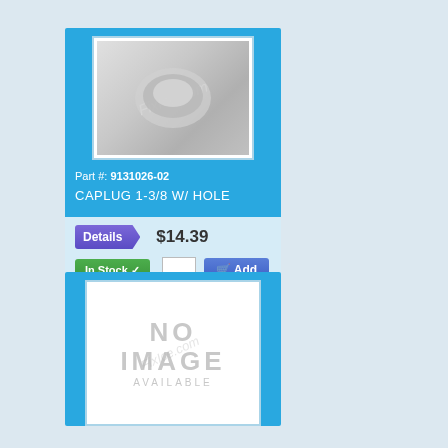[Figure (photo): Product image of CAPLUG 1-3/8 W/ HOLE plastic cap with watermark overlay]
Part #: 9131026-02
CAPLUG 1-3/8 W/ HOLE
Details
$14.39
In Stock ✓
[Figure (photo): No image available placeholder with watermark overlay]